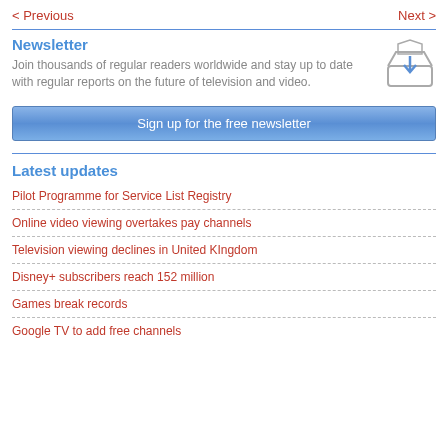< Previous    Next >
Newsletter
Join thousands of regular readers worldwide and stay up to date with regular reports on the future of television and video.
[Figure (illustration): Inbox/mail tray icon with a downward arrow indicating download into tray]
Sign up for the free newsletter
Latest updates
Pilot Programme for Service List Registry
Online video viewing overtakes pay channels
Television viewing declines in United KIngdom
Disney+ subscribers reach 152 million
Games break records
Google TV to add free channels